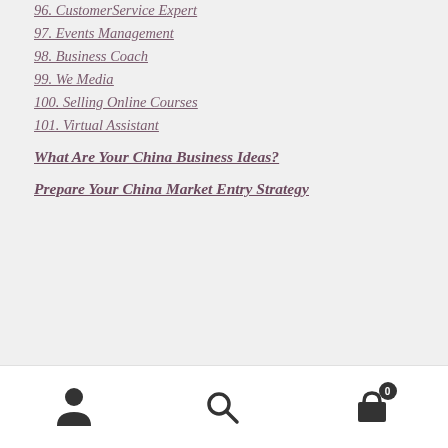96. CustomerService Expert
97. Events Management
98. Business Coach
99. We Media
100. Selling Online Courses
101. Virtual Assistant
What Are Your China Business Ideas?
Prepare Your China Market Entry Strategy
User | Search | Cart (0)